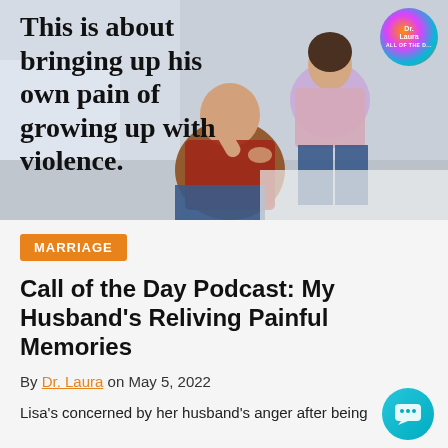[Figure (photo): A woman comforting a distressed man sitting on a bed. Text overlay reads: 'This is about bringing up his own pain of growing up with violence.' A colorful circular badge is in the top right corner.]
MARRIAGE
Call of the Day Podcast: My Husband's Reliving Painful Memories
By Dr. Laura on May 5, 2022
Lisa's concerned by her husband's anger after being